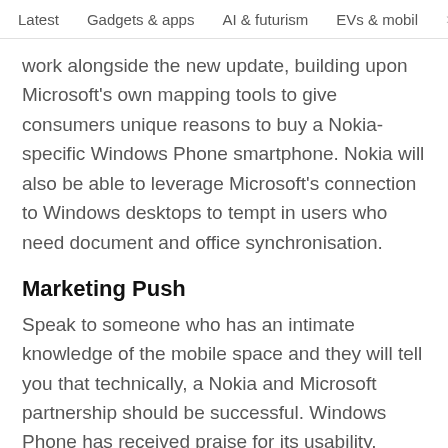Latest   Gadgets & apps   AI & futurism   EVs & mobil  >
work alongside the new update, building upon Microsoft's own mapping tools to give consumers unique reasons to buy a Nokia-specific Windows Phone smartphone. Nokia will also be able to leverage Microsoft's connection to Windows desktops to tempt in users who need document and office synchronisation.
Marketing Push
Speak to someone who has an intimate knowledge of the mobile space and they will tell you that technically, a Nokia and Microsoft partnership should be successful. Windows Phone has received praise for its usability, aesthetics and integrated